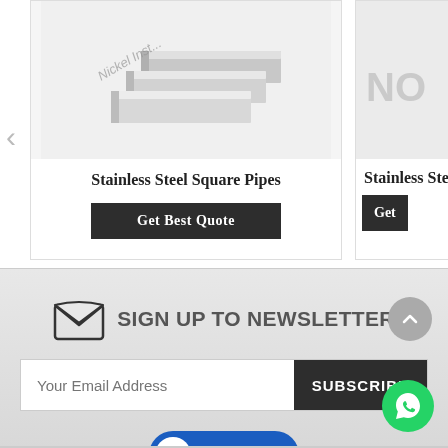[Figure (photo): Stainless steel square pipes product image with watermark text 'Nickel Inst...']
Stainless Steel Square Pipes
Get Best Quote
[Figure (photo): Partially visible stainless steel product image with 'NO' watermark text]
Stainless Ste...
Get...
SIGN UP TO NEWSLETTER
Your Email Address
SUBSCRIBE
[Figure (logo): V-TRUST logo with checkmark on blue rounded rectangle badge]
[Figure (logo): WhatsApp green circle button icon]